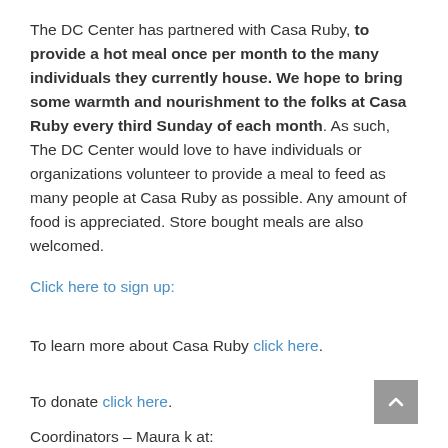The DC Center has partnered with Casa Ruby, to provide a hot meal once per month to the many individuals they currently house. We hope to bring some warmth and nourishment to the folks at Casa Ruby every third Sunday of each month. As such, The DC Center would love to have individuals or organizations volunteer to provide a meal to feed as many people at Casa Ruby as possible. Any amount of food is appreciated. Store bought meals are also welcomed.
Click here to sign up:
To learn more about Casa Ruby click here.
To donate click here.
Coordinators – Maura k at: